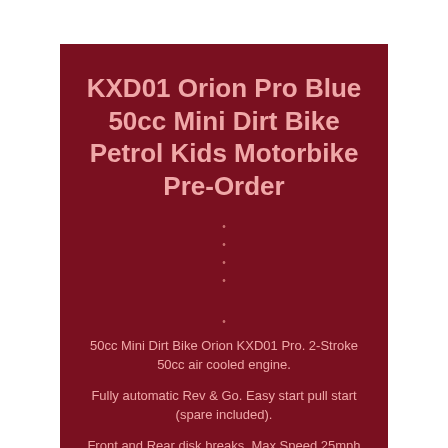KXD01 Orion Pro Blue 50cc Mini Dirt Bike Petrol Kids Motorbike Pre-Order
50cc Mini Dirt Bike Orion KXD01 Pro. 2-Stroke 50cc air cooled engine.
Fully automatic Rev & Go. Easy start pull start (spare included).
Front and Rear disk breaks. Max Speed 25mph (can be restricted). Requires 2 stroke unleaded petrol (25/1 mix). Requires a good mechanical understanding.
Make sure to run in the engine before first use. Independent